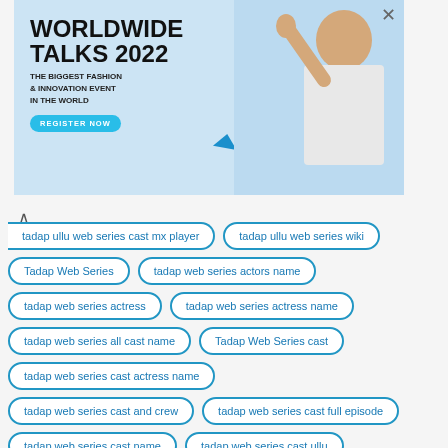[Figure (illustration): Advertisement banner for Worldwide Talks 2022 - The Biggest Fashion & Innovation Event in the World, with a Register Now button and decorative geometric shapes]
tadap ullu web series cast mx player
tadap ullu web series wiki
Tadap Web Series
tadap web series actors name
tadap web series actress
tadap web series actress name
tadap web series all cast name
Tadap Web Series cast
tadap web series cast actress name
tadap web series cast and crew
tadap web series cast full episode
tadap web series cast name
tadap web series cast ullu
tadap web series mx player cast
tadap web series plot
Tadap Web Series ullu
tadap web series ullu cast